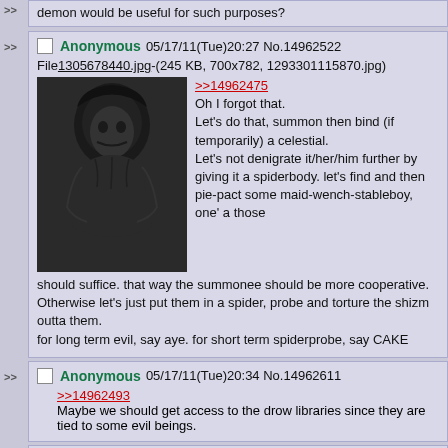demon would be useful for such purposes?
Anonymous 05/17/11(Tue)20:27 No.14962522
File1305678440.jpg-(245 KB, 700x782, 1293301115870.jpg)
>>14962475
Oh I forgot that.
Let's do that, summon then bind (if temporarily) a celestial.
Let's not denigrate it/her/him further by giving it a spiderbody. let's find and then pie-pact some maid-wench-stableboy, one' a those should suffice. that way the summonee should be more cooperative.
Otherwise let's just put them in a spider, probe and torture the shizm outta them.
for long term evil, say aye. for short term spiderprobe, say CAKE
Anonymous 05/17/11(Tue)20:34 No.14962611
>>14962493
Maybe we should get access to the drow libraries since they are tied to some evil beings.
Anonymous 05/17/11(Tue)20:34 No.14962614
Bump for evil!